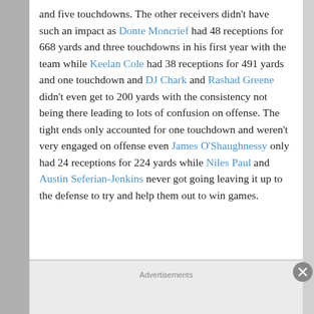and five touchdowns. The other receivers didn't have such an impact as Donte Moncrief had 48 receptions for 668 yards and three touchdowns in his first year with the team while Keelan Cole had 38 receptions for 491 yards and one touchdown and DJ Chark and Rashad Greene didn't even get to 200 yards with the consistency not being there leading to lots of confusion on offense. The tight ends only accounted for one touchdown and weren't very engaged on offense even James O'Shaughnessy only had 24 receptions for 224 yards while Niles Paul and Austin Seferian-Jenkins never got going leaving it up to the defense to try and help them out to win games.
Advertisements